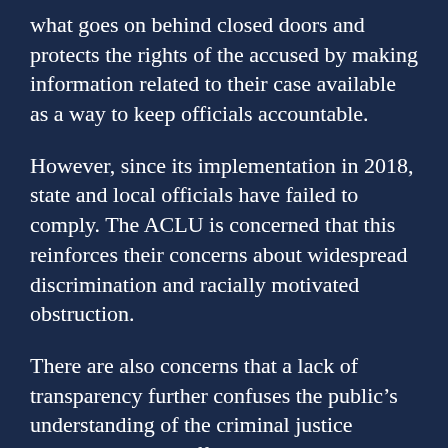what goes on behind closed doors and protects the rights of the accused by making information related to their case available as a way to keep officials accountable.
However, since its implementation in 2018, state and local officials have failed to comply. The ACLU is concerned that this reinforces their concerns about widespread discrimination and racially motivated obstruction.
There are also concerns that a lack of transparency further confuses the public’s understanding of the criminal justice system. ACLU Staff Attorney Benjamin Stevenson says,
“Without enough comprehensive data for